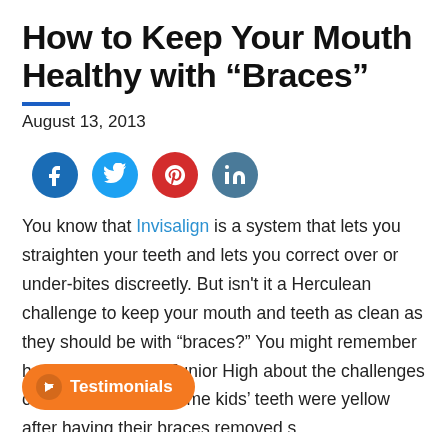How to Keep Your Mouth Healthy with “Braces”
August 13, 2013
[Figure (other): Social share buttons: Facebook, Twitter, Pinterest, LinkedIn icons]
You know that Invisalign is a system that lets you straighten your teeth and lets you correct over or under-bites discreetly. But isn't it a Herculean challenge to keep your mouth and teeth as clean as they should be with “braces?” You might remember horror stories from Junior High about the challenges of flossing, or how some kids' teeth were yellow after having their braces removed s[Testimonials button]iligent enough about brushing through the devices.